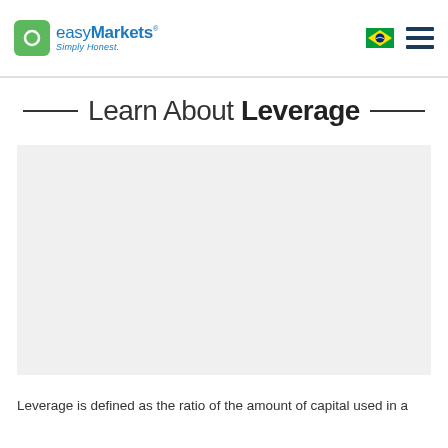easyMarkets Simply Honest.
Learn About Leverage
[Figure (other): Video or media placeholder area with light grey background]
Leverage is defined as the ratio of the amount of capital used in a